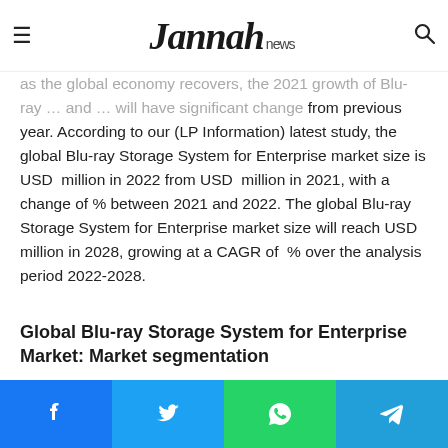Jannah news
as the global economy recovers, the 2021 growth of Blu-ray ... and ... will have significant change from previous year. According to our (LP Information) latest study, the global Blu-ray Storage System for Enterprise market size is USD  million in 2022 from USD  million in 2021, with a change of % between 2021 and 2022. The global Blu-ray Storage System for Enterprise market size will reach USD  million in 2028, growing at a CAGR of  % over the analysis period 2022-2028.
Global Blu-ray Storage System for Enterprise Market: Market segmentation
Blu-ray Storage System for Enterprise market is split by Type